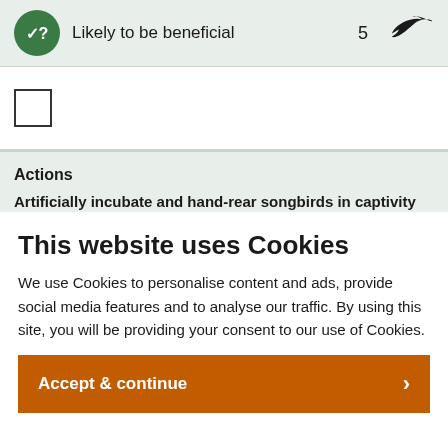[Figure (infographic): Green circle icon with checkmark and question mark, labeled 'Likely to be beneficial', count '5', and a bird silhouette icon]
[Figure (infographic): Empty checkbox square]
Actions
Artificially incubate and hand-rear songbirds in captivity
This website uses Cookies
We use Cookies to personalise content and ads, provide social media features and to analyse our traffic. By using this site, you will be providing your consent to our use of Cookies.
Accept & continue